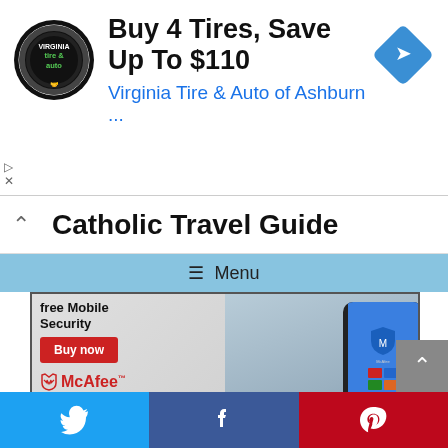[Figure (screenshot): Advertisement banner: Virginia Tire & Auto logo (circular black badge), headline 'Buy 4 Tires, Save Up To $110', subtext 'Virginia Tire & Auto of Ashburn ...', and a blue diamond navigation icon on the right.]
catholic Travel Guide
≡ Menu
[Figure (screenshot): McAfee advertisement: 'free Mobile Security' headline, 'Buy now' red button, McAfee logo, and a photo of a person holding a smartphone with the McAfee app.]
[Figure (screenshot): Social sharing bar at bottom with Twitter, Facebook, and Pinterest buttons.]